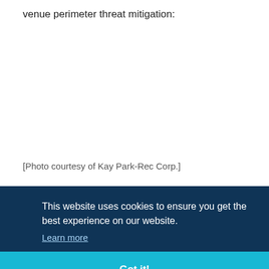venue perimeter threat mitigation:
[Photo courtesy of Kay Park-Rec Corp.]
[Figure (photo): Photo area (blank/missing image) related to venue perimeter threat mitigation, credited to Kay Park-Rec Corp.]
This website uses cookies to ensure you get the best experience on our website.
Learn more
Got it!
...meter
...ude
...BIED),
use of the vehicle as a weapon (VAW), and